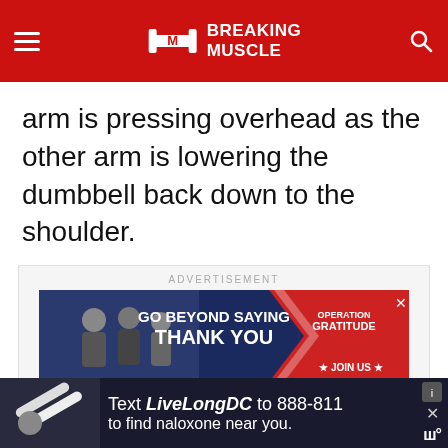Breaking Muscle
arm is pressing overhead as the other arm is lowering the dumbbell back down to the shoulder.
[Figure (screenshot): Advertisement banner: 'GO BEYOND SAYING THANK YOU — OPERATION GRATITUDE ★ JOIN US ★']
[Figure (infographic): Bottom advertisement: 'Text LiveLongDC to 888-811 to find naloxone near you.']